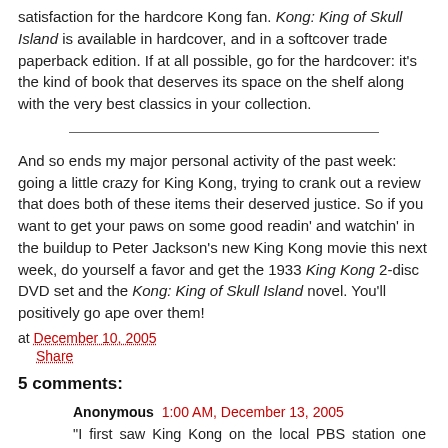satisfaction for the hardcore Kong fan. Kong: King of Skull Island is available in hardcover, and in a softcover trade paperback edition. If at all possible, go for the hardcover: it's the kind of book that deserves its space on the shelf along with the very best classics in your collection.
And so ends my major personal activity of the past week: going a little crazy for King Kong, trying to crank out a review that does both of these items their deserved justice. So if you want to get your paws on some good readin' and watchin' in the buildup to Peter Jackson's new King Kong movie this next week, do yourself a favor and get the 1933 King Kong 2-disc DVD set and the Kong: King of Skull Island novel. You'll positively go ape over them!
at December 10, 2005
Share
5 comments:
Anonymous  1:00 AM, December 13, 2005
"I first saw King Kong on the local PBS station one Friday night during my senior year of high school. All I'd known about it 'til that night were Kong and the Empire State Building, something about an island of natives and dinosaurs, and of course Fay Wray screaming like mad. If PBS hadn't shown it I've no idea